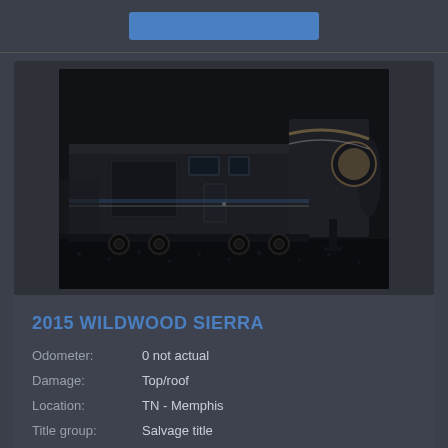[Figure (photo): Photo of a 2015 Wildwood Sierra fifth-wheel RV trailer parked on gravel, dark/low-light image showing the side and front of the large trailer]
2015 WILDWOOD SIERRA
Odometer:    0 not actual
Damage:      Top/roof
Location:    TN - Memphis
Title group: Salvage title